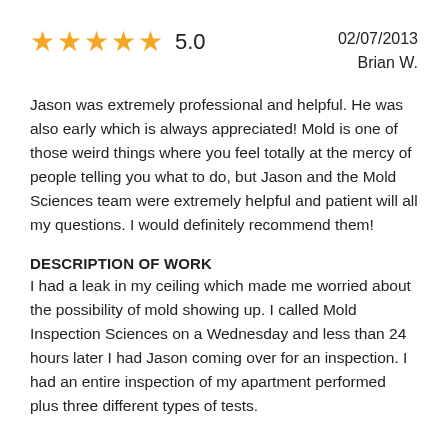[Figure (other): Five gold star rating icons with rating number 5.0 and date 02/07/2013 and reviewer name Brian W.]
Jason was extremely professional and helpful. He was also early which is always appreciated! Mold is one of those weird things where you feel totally at the mercy of people telling you what to do, but Jason and the Mold Sciences team were extremely helpful and patient will all my questions. I would definitely recommend them!
DESCRIPTION OF WORK
I had a leak in my ceiling which made me worried about the possibility of mold showing up. I called Mold Inspection Sciences on a Wednesday and less than 24 hours later I had Jason coming over for an inspection. I had an entire inspection of my apartment performed plus three different types of tests.